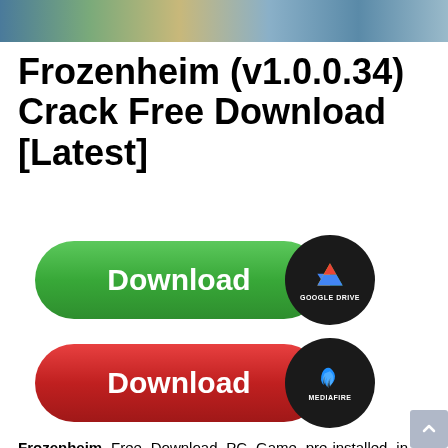[Figure (screenshot): Game banner image at the top showing a fantasy/medieval scene]
Frozenheim (v1.0.0.34) Crack Free Download [Latest]
[Figure (illustration): Green Download button with Google Drive badge]
[Figure (illustration): Red Download button with MediaFire badge]
Frozenheim Free Download PC Game pre-installed in direct link. Frozenheim was